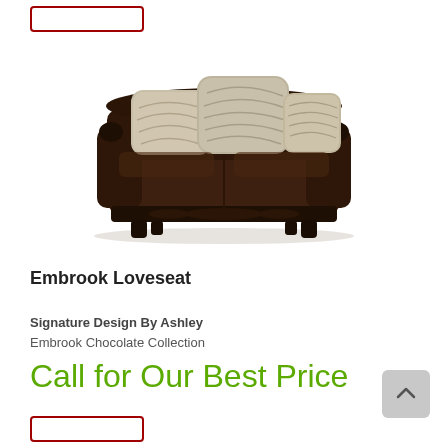[Figure (photo): Dark chocolate brown leather loveseat with ornate carved wood trim, three decorative throw pillows in cream/beige fabric, traditional style with rolled arms and tufted base.]
Embrook Loveseat
Signature Design By Ashley
Embrook Chocolate Collection
Call for Our Best Price